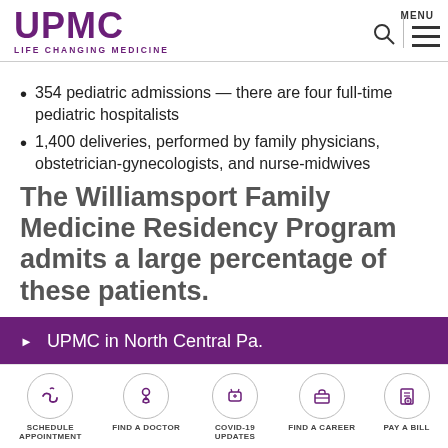UPMC LIFE CHANGING MEDICINE
354 pediatric admissions — there are four full-time pediatric hospitalists
1,400 deliveries, performed by family physicians, obstetrician-gynecologists, and nurse-midwives
The Williamsport Family Medicine Residency Program admits a large percentage of these patients.
UPMC in North Central Pa.
SCHEDULE APPOINTMENT | FIND A DOCTOR | COVID-19 UPDATES | FIND A CAREER | PAY A BILL